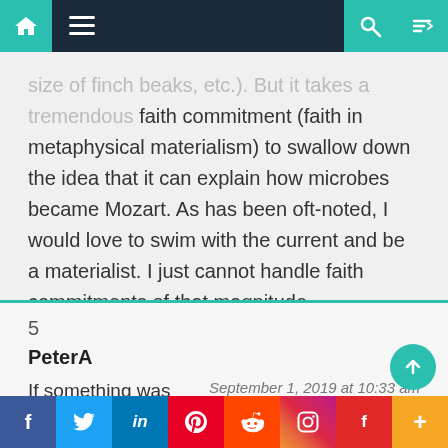size of finch beaks, etc.). But it takes a tremendous faith commitment (faith in metaphysical materialism) to swallow down the idea that it can explain how microbes became Mozart. As has been oft-noted, I would love to swim with the current and be a materialist. I just cannot handle faith commitments of that magnitude.
5
PeterA
If something was designed then the HOW question is answered simply
September 1, 2019 at 10:33 am